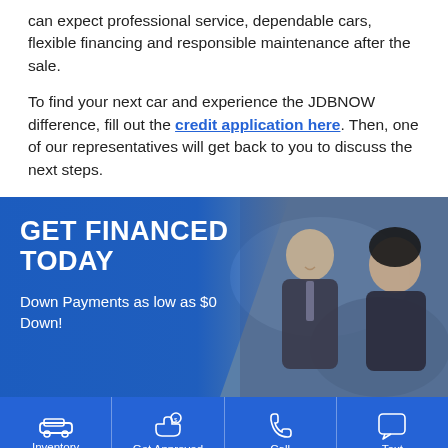can expect professional service, dependable cars, flexible financing and responsible maintenance after the sale.
To find your next car and experience the JDBNOW difference, fill out the credit application here. Then, one of our representatives will get back to you to discuss the next steps.
[Figure (infographic): Banner image with blue overlay showing two people in a car dealership setting. Text reads GET FINANCED TODAY and Down Payments as low as $0 Down!]
GET FINANCED TODAY
Down Payments as low as $0 Down!
[Figure (infographic): Bottom navigation bar with four items: Inventory (car icon), Get Approved (hand with money icon), Call (phone icon), Text (chat bubble icon)]